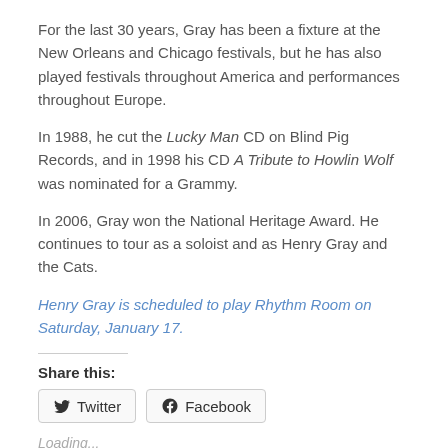For the last 30 years, Gray has been a fixture at the New Orleans and Chicago festivals, but he has also played festivals throughout America and performances throughout Europe.
In 1988, he cut the Lucky Man CD on Blind Pig Records, and in 1998 his CD A Tribute to Howlin Wolf was nominated for a Grammy.
In 2006, Gray won the National Heritage Award. He continues to tour as a soloist and as Henry Gray and the Cats.
Henry Gray is scheduled to play Rhythm Room on Saturday, January 17.
Share this:
Loading...